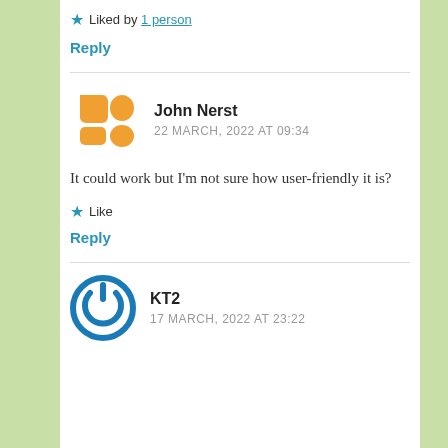★ Liked by 1 person
Reply
John Nerst
22 MARCH, 2022 AT 09:34
It could work but I'm not sure how user-friendly it is?
★ Like
Reply
KT2
17 MARCH, 2022 AT 23:22